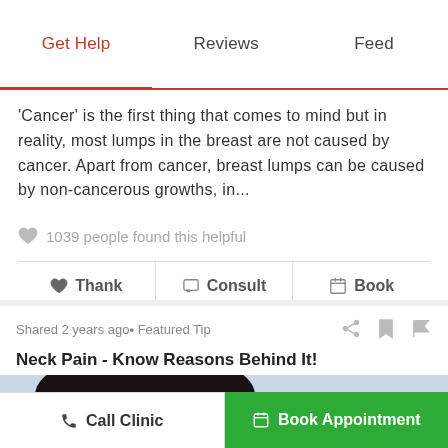Get Help | Reviews | Feed
'Cancer' is the first thing that comes to mind but in reality, most lumps in the breast are not caused by cancer. Apart from cancer, breast lumps can be caused by non-cancerous growths, in...
1039 people found this helpful
Thank | Consult | Book
Shared 2 years ago • Featured Tip
Neck Pain - Know Reasons Behind It!
[Figure (photo): Photo of a person holding their neck, suggesting neck pain]
Call Clinic | Book Appointment